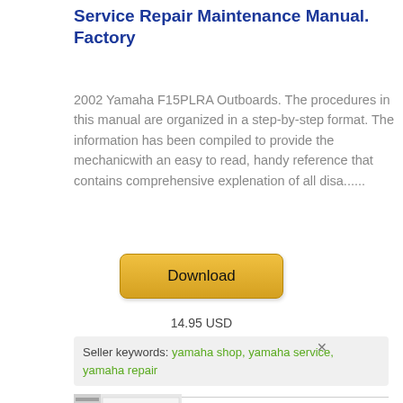Service Repair Maintenance Manual. Factory
2002 Yamaha F15PLRA Outboards. The procedures in this manual are organized in a step-by-step format. The information has been compiled to provide the mechanicwith an easy to read, handy reference that contains comprehensive explenation of all disa......
[Figure (other): Download button - golden/yellow rounded button with text 'Download']
14.95 USD
Seller keywords: yamaha shop, yamaha service, yamaha repair
[Figure (screenshot): Thumbnail image of a repair manual page showing a mechanic diagram/illustration]